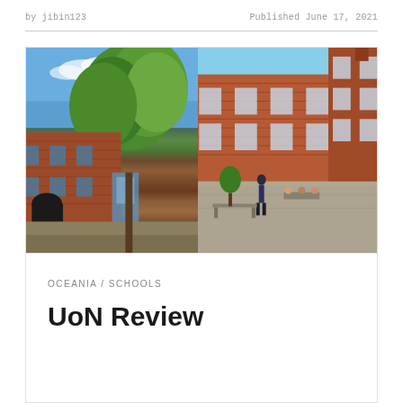by jibin123    Published June 17, 2021
[Figure (photo): Two side-by-side photos of university buildings: left shows a red-brick building with green trees and blue sky; right shows a red-brick courtyard with students seated outdoors]
OCEANIA / SCHOOLS
UoN Review